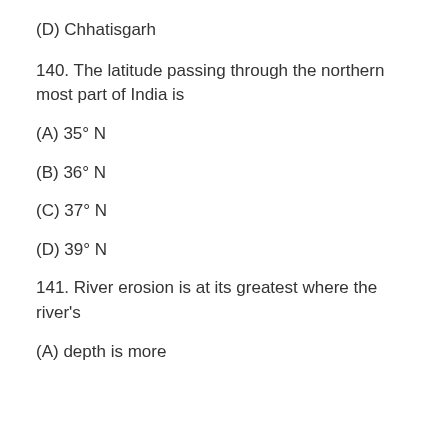(D) Chhatisgarh
140. The latitude passing through the northern most part of India is
(A) 35° N
(B) 36° N
(C) 37° N
(D) 39° N
141. River erosion is at its greatest where the river's
(A) depth is more